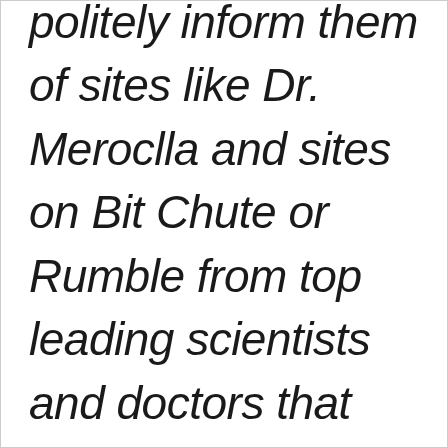politely inform them of sites like Dr. Meroclla and sites on Bit Chute or Rumble from top leading scientists and doctors that prove the face